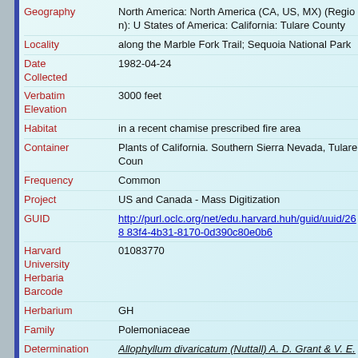Geography: North America: North America (CA, US, MX) (Region): United States of America: California: Tulare County
Locality: along the Marble Fork Trail; Sequoia National Park
Date Collected: 1982-04-24
Verbatim Elevation: 3000 feet
Habitat: in a recent chamise prescribed fire area
Container: Plants of California. Southern Sierra Nevada, Tulare County
Frequency: Common
Project: US and Canada - Mass Digitization
GUID: http://purl.oclc.org/net/edu.harvard.huh/guid/uuid/26883f4-4b31-8170-0d390c80e0b6
Harvard University Herbaria Barcode: 01083770
Herbarium: GH
Family: Polemoniaceae
Determination: Allophyllum divaricatum (Nuttall) A. D. Grant & V. E. Grant
Determination Remarks: [is filed under name] [is Current name]